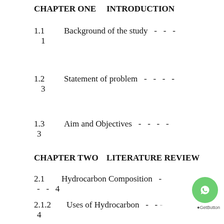CHAPTER ONE        INTRODUCTION
1.1        Background of the study   -   -   -   1
1.2        Statement of problem   -   -   -   -   3
1.3        Aim and Objectives   -   -   -   -   3
CHAPTER TWO        LITERATURE REVIEW
2.1        Hydrocarbon Composition   -   -   -   4
2.1.2        Uses of Hydrocarbon   -   -   -   4